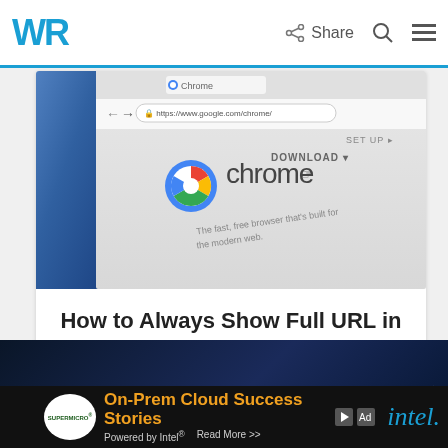WR | Share [search] [menu]
[Figure (screenshot): Screenshot of Google Chrome browser download page showing the Chrome logo, the URL https://www.google.com/chrome/, DOWNLOAD button, SET UP link, and tagline 'The fast, free browser that's built for the modern web.']
How to Always Show Full URL in Google Chrome's Address Bar
by Claudiu Andone
How to
[Figure (screenshot): Partial screenshot of a dark background with a blue-tinted scene, partially visible advertisement banner]
On-Prem Cloud Success Stories Powered by Intel® Read More >> SUPERMICRO intel.